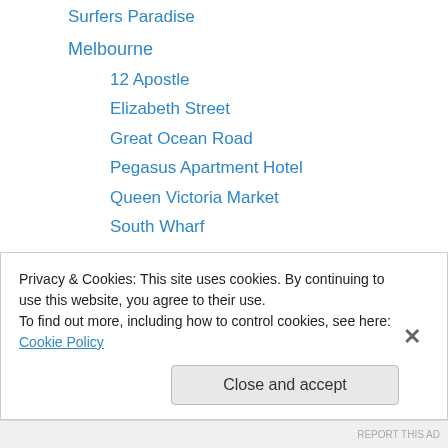Surfers Paradise
Melbourne
12 Apostle
Elizabeth Street
Great Ocean Road
Pegasus Apartment Hotel
Queen Victoria Market
South Wharf
Indonesia
Bali
Bracha Villa
Ziva A Boutique Villa
Batam
Privacy & Cookies: This site uses cookies. By continuing to use this website, you agree to their use.
To find out more, including how to control cookies, see here: Cookie Policy
Close and accept